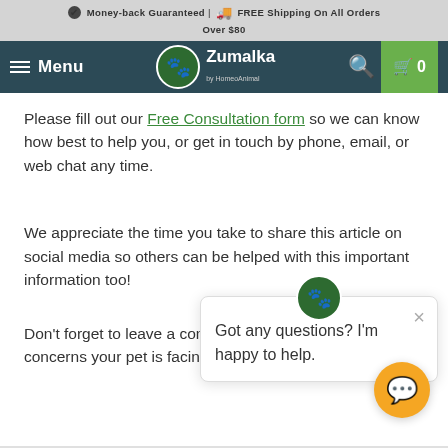Money-back Guaranteed | FREE Shipping On All Orders Over $80
[Figure (screenshot): Zumalka website navigation bar with hamburger menu, logo, search icon, and cart button showing 0 items]
Please fill out our Free Consultation form so we can know how best to help you, or get in touch by phone, email, or web chat any time.
We appreciate the time you take to share this article on social media so others can be helped with this important information too!
Don't forget to leave a com... health concerns your pet is facing.
[Figure (screenshot): Chat popup widget with Zumalka paw logo, close button, and message 'Got any questions? I'm happy to help.' with orange chat button at bottom right]